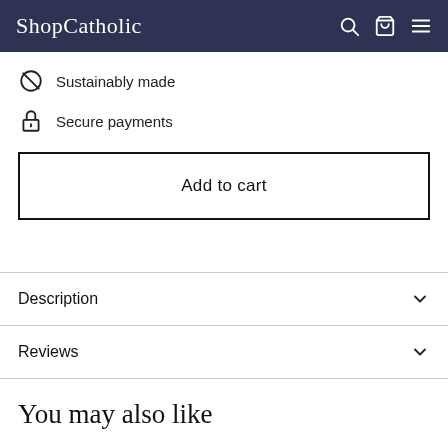ShopCatholic
Sustainably made
Secure payments
Add to cart
Description
Reviews
You may also like